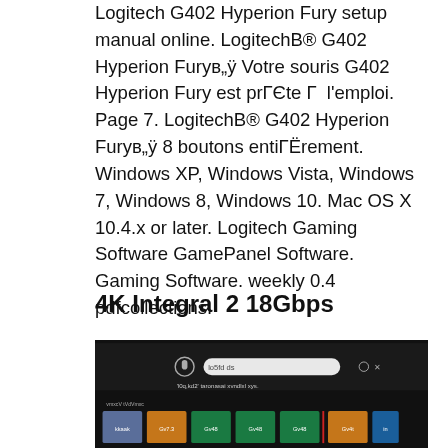Logitech G402 Hyperion Fury setup manual online. LogitechB® G402 Hyperion Furyв„ÿ Votre souris G402 Hyperion Fury est prГЄte Г  l'emploi. Page 7. LogitechB® G402 Hyperion Furyв„ÿ 8 boutons entiГЁrement. Windows XP, Windows Vista, Windows 7, Windows 8, Windows 10. Mac OS X 10.4.x or later. Logitech Gaming Software GamePanel Software. Gaming Software. weekly 0.4 pdfcollections.
4K Integral 2 18Gbps
[Figure (screenshot): Screenshot of a software interface with a dark background showing a dialog or search bar at the top and a row of labeled card/channel items below, on a dark background.]